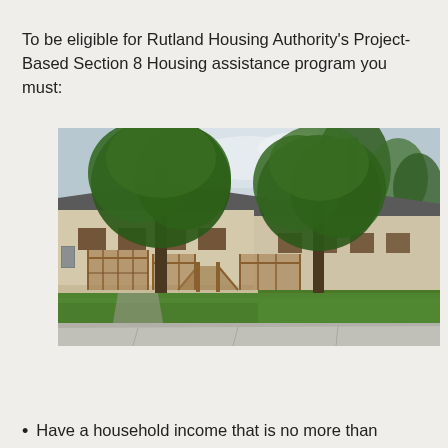To be eligible for Rutland Housing Authority's Project-Based Section 8 Housing assistance program you must:
[Figure (photo): Exterior photo of a single-story residential housing complex with beige/cream siding, wooden front porches with railings and ramps, and large green trees in the foreground and background. Green lawn visible in the foreground with a sidewalk. Construction activity visible in the far right background.]
Have a household income that is no more than